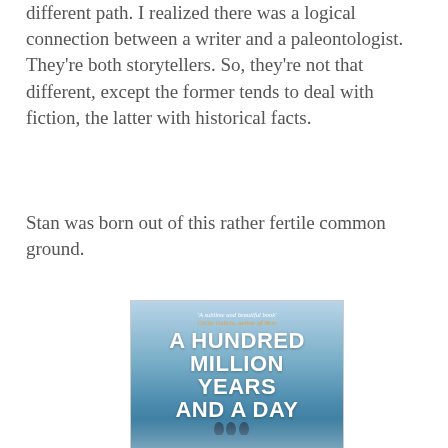different path. I realized there was a logical connection between a writer and a paleontologist. They're both storytellers. So, they're not that different, except the former tends to deal with fiction, the latter with historical facts.
Stan was born out of this rather fertile common ground.
[Figure (photo): Book cover of 'A Hundred Million Years and a Day' with a blue icy/snowy landscape background, silhouettes of three figures walking, and the quote 'A sublime and beautiful book' at the top in orange italic text.]